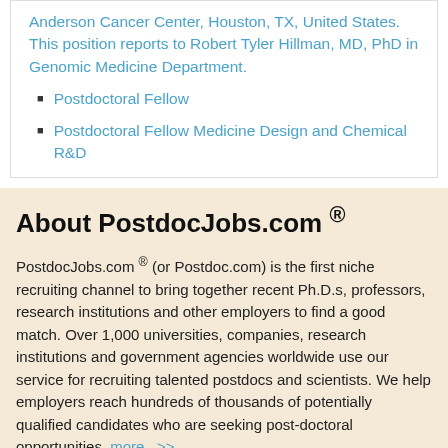Anderson Cancer Center, Houston, TX, United States. This position reports to Robert Tyler Hillman, MD, PhD in Genomic Medicine Department.
Postdoctoral Fellow
Postdoctoral Fellow Medicine Design and Chemical R&D
About PostdocJobs.com ®
PostdocJobs.com ® (or Postdoc.com) is the first niche recruiting channel to bring together recent Ph.D.s, professors, research institutions and other employers to find a good match. Over 1,000 universities, companies, research institutions and government agencies worldwide use our service for recruiting talented postdocs and scientists. We help employers reach hundreds of thousands of potentially qualified candidates who are seeking post-doctoral opportunities. more...>>
Links
Home